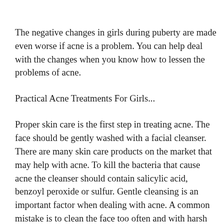The negative changes in girls during puberty are made even worse if acne is a problem. You can help deal with the changes when you know how to lessen the problems of acne.
Practical Acne Treatments For Girls...
Proper skin care is the first step in treating acne. The face should be gently washed with a facial cleanser. There are many skin care products on the market that may help with acne. To kill the bacteria that cause acne the cleanser should contain salicylic acid, benzoyl peroxide or sulfur. Gentle cleansing is an important factor when dealing with acne. A common mistake is to clean the face too often and with harsh cleansers. Careful cleaning of the face enhances the skin's